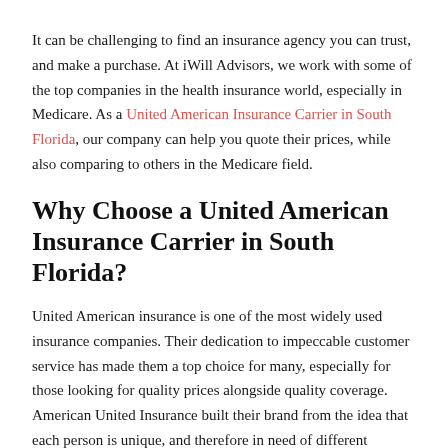It can be challenging to find an insurance agency you can trust, and make a purchase. At iWill Advisors, we work with some of the top companies in the health insurance world, especially in Medicare. As a United American Insurance Carrier in South Florida, our company can help you quote their prices, while also comparing to others in the Medicare field.
Why Choose a United American Insurance Carrier in South Florida?
United American insurance is one of the most widely used insurance companies. Their dedication to impeccable customer service has made them a top choice for many, especially for those looking for quality prices alongside quality coverage. American United Insurance built their brand from the idea that each person is unique, and therefore in need of different policies and coverage.